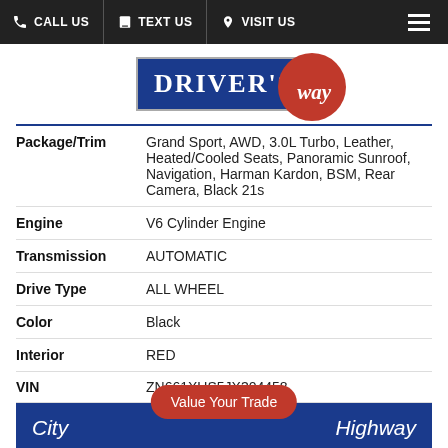CALL US  TEXT US  VISIT US
[Figure (logo): Driver's Way logo with blue rectangle containing 'DRIVER'S' text and red circle containing cursive 'way' text]
| Package/Trim | Grand Sport, AWD, 3.0L Turbo, Leather, Heated/Cooled Seats, Panoramic Sunroof, Navigation, Harman Kardon, BSM, Rear Camera, Black 21s |
| Engine | V6 Cylinder Engine |
| Transmission | AUTOMATIC |
| Drive Type | ALL WHEEL |
| Color | Black |
| Interior | RED |
| VIN | ZN661XUS5JX304458 |
Value Your Trade
City   Highway